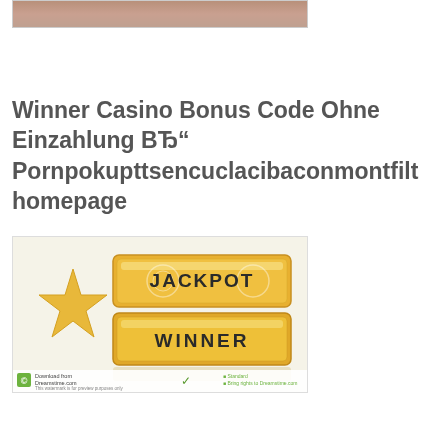[Figure (photo): Partial top photo showing people, cropped at top of page]
Winner Casino Bonus Code Ohne Einzahlung BЂ" Pornpokupttsencuclacibaconmontfilt homepage
[Figure (photo): Stock image of golden jackpot winner blocks with a gold star on white background, Dreamstime watermark at bottom]